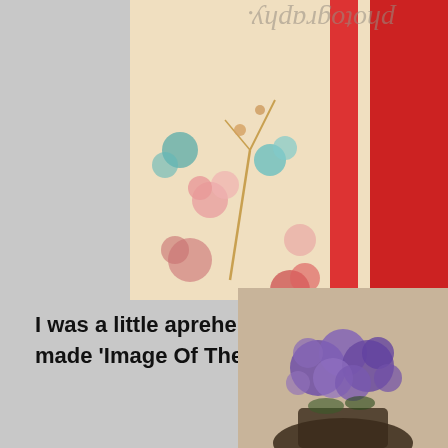[Figure (photo): Photo of a person wearing a traditional Japanese kimono with colorful floral patterns in pink, teal, and gold on cream fabric, with a red garment visible underneath. A watermark reading 'photography' is visible rotated vertically.]
I was a little aprehensive heading into the shoo... made 'Image Of The Week' & we got a lovely do...
[Figure (photo): Photo of purple flowers (possibly lavender or heather) against a beige/tan background, partially cropped.]